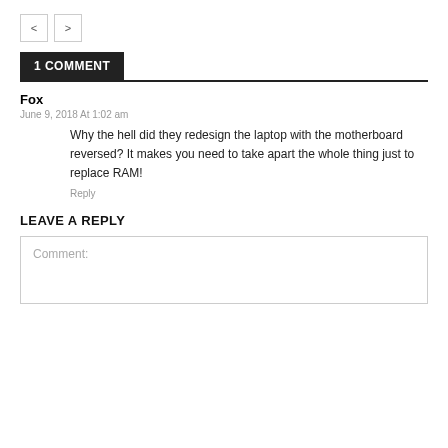< >
1 COMMENT
Fox
June 9, 2018 At 1:02 am
Why the hell did they redesign the laptop with the motherboard reversed? It makes you need to take apart the whole thing just to replace RAM!
Reply
LEAVE A REPLY
Comment: